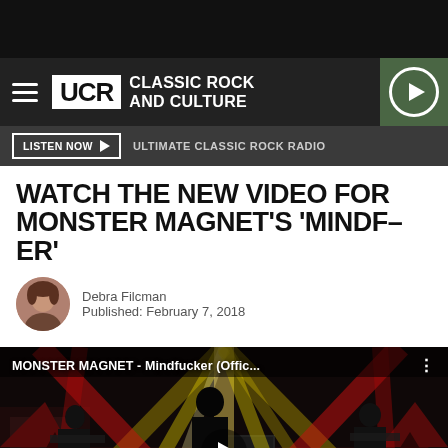[Figure (screenshot): UCR Classic Rock and Culture website header with hamburger menu, UCR logo, play button]
LISTEN NOW ▶   ULTIMATE CLASSIC ROCK RADIO
WATCH THE NEW VIDEO FOR MONSTER MAGNET'S 'MINDF–ER'
Debra Filcman
Published: February 7, 2018
[Figure (screenshot): YouTube video thumbnail for MONSTER MAGNET - Mindfucker (Offic...) showing band performing on stage with dramatic red and yellow light beams]